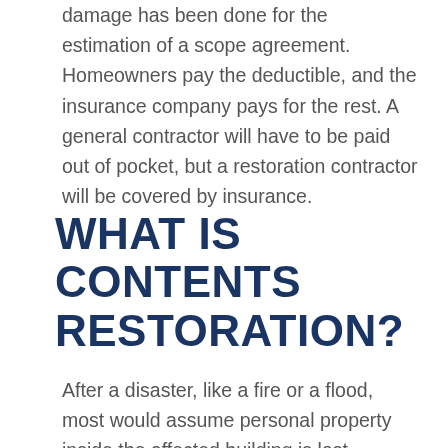damage has been done for the estimation of a scope agreement. Homeowners pay the deductible, and the insurance company pays for the rest. A general contractor will have to be paid out of pocket, but a restoration contractor will be covered by insurance.
WHAT IS CONTENTS RESTORATION?
After a disaster, like a fire or a flood, most would assume personal property inside the affected building is lost. However,